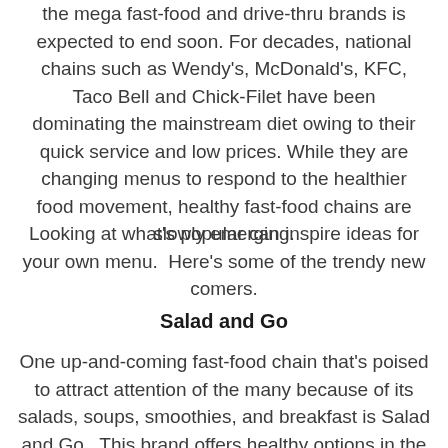the mega fast-food and drive-thru brands is expected to end soon. For decades, national chains such as Wendy's, McDonald's, KFC, Taco Bell and Chick-Filet have been dominating the mainstream diet owing to their quick service and low prices. While they are changing menus to respond to the healthier food movement, healthy fast-food chains are slowly emerging.
Looking at what's popular can inspire ideas for your own menu.  Here's some of the trendy new comers.
Salad and Go
One up-and-coming fast-food chain that's poised to attract attention of the many because of its salads, soups, smoothies, and breakfast is Salad and Go.  This brand offers healthy options in the desirable drive-thru chains experience a new.  Currently, it has